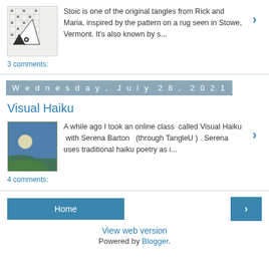[Figure (illustration): Black and white geometric tangle art with triangles and grid patterns]
Stoic is one of the original tangles from Rick and Maria, inspired by the pattern on a rug seen in Stowe, Vermont.  It's also known by s...
3 comments:
Wednesday, July 28, 2021
Visual Haiku
[Figure (illustration): Colorful painting of a moonlit landscape with green hills and blue sky]
A while ago I took an online class  called Visual Haiku  with Serena Barton   (through TangleU ) .  Serena uses traditional haiku poetry as i...
4 comments:
Home
View web version
Powered by Blogger.